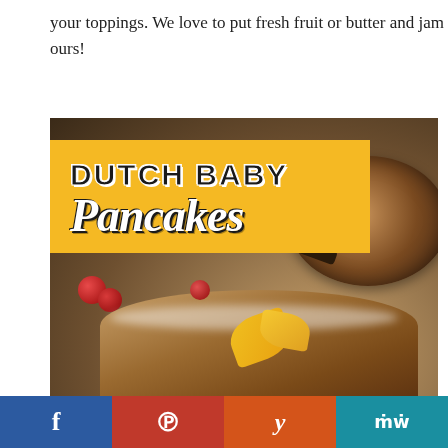your toppings. We love to put fresh fruit or butter and jam on ours!
[Figure (photo): Dutch Baby Pancakes food photo with yellow banner overlay showing the title 'DUTCH BABY Pancakes' in bold uppercase and script lettering on a golden yellow background. Background shows a cast iron skillet with Dutch baby pancake, red cherries, and powdered sugar dusted pancakes with mango slices in the foreground.]
f  |  P  |  y  |  MW  — social sharing buttons: Facebook, Pinterest, Yummly, MasterWebsites